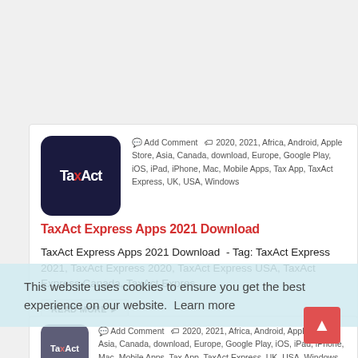[Figure (screenshot): Article card showing TaxAct app logo (dark navy background with TaxAct text in white/red) with metadata tags and article title 'TaxAct Express Apps 2021 Download' in red bold font, followed by article excerpt text and a READ MORE button. A cookie consent overlay partially covers the lower portion. A second partially visible article card appears below.]